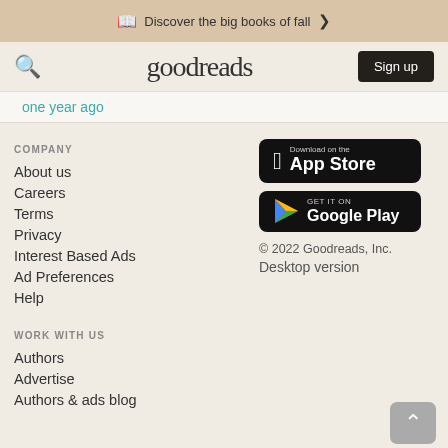Discover the big books of fall >
goodreads  Sign up
one year ago
COMPANY
About us
Careers
Terms
Privacy
Interest Based Ads
Ad Preferences
Help
[Figure (logo): Download on the App Store badge]
[Figure (logo): Get it on Google Play badge]
© 2022 Goodreads, Inc.
Desktop version
WORK WITH US
Authors
Advertise
Authors & ads blog